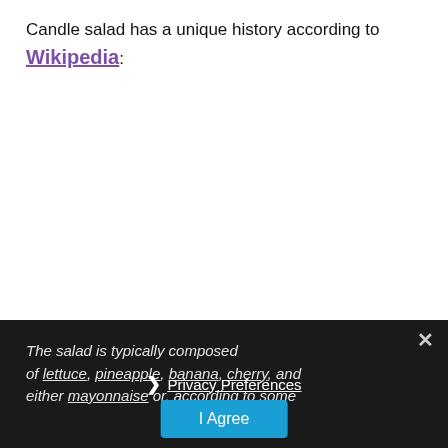Candle salad has a unique history according to Wikipedia:
The salad is typically composed of lettuce, pineapple, banana, cherry, and either mayonnaise or, according to some
❯ Privacy Preferences
I Agree